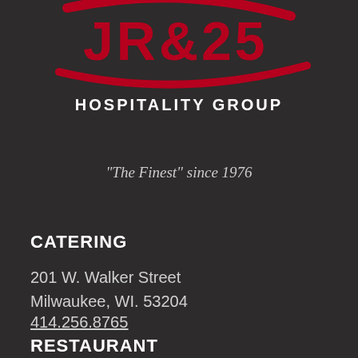[Figure (logo): Hospitality group logo with red swoosh design and partial text visible at top, with HOSPITALITY GROUP text below]
“The Finest” since 1976
CATERING
201 W. Walker Street
Milwaukee, WI. 53204
414.256.8765
RESTAURANT